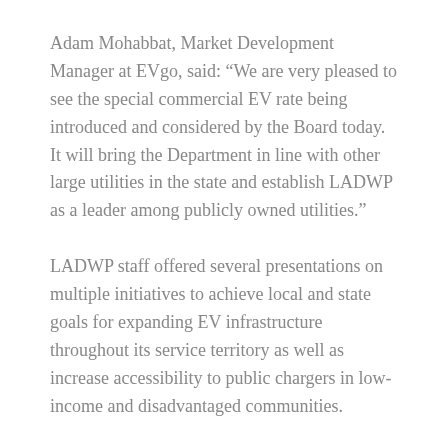Adam Mohabbat, Market Development Manager at EVgo, said: “We are very pleased to see the special commercial EV rate being introduced and considered by the Board today. It will bring the Department in line with other large utilities in the state and establish LADWP as a leader among publicly owned utilities.”
LADWP staff offered several presentations on multiple initiatives to achieve local and state goals for expanding EV infrastructure throughout its service territory as well as increase accessibility to public chargers in low-income and disadvantaged communities.